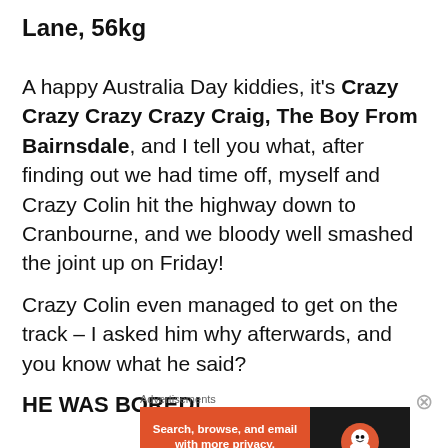Lane, 56kg
A happy Australia Day kiddies, it's Crazy Crazy Crazy Crazy Craig, The Boy From Bairnsdale, and I tell you what, after finding out we had time off, myself and Crazy Colin hit the highway down to Cranbourne, and we bloody well smashed the joint up on Friday!
Crazy Colin even managed to get on the track – I asked him why afterwards, and you know what he said?
HE WAS BORED!
Advertisements
[Figure (other): DuckDuckGo advertisement banner: 'Search, browse, and email with more privacy. All in One Free App' with DuckDuckGo logo on dark background]